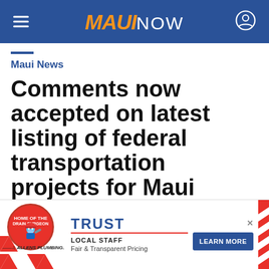MAUI NOW
Maui News
Comments now accepted on latest listing of federal transportation projects for Maui
[Figure (infographic): Allen's Plumbing advertisement banner with logo, TRUST heading, LOCAL STAFF and Fair & Transparent Pricing text, and LEARN MORE button]